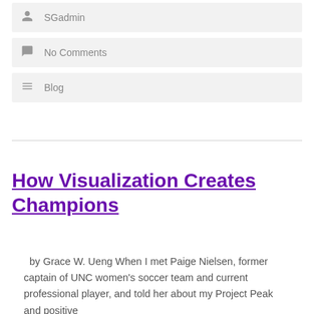SGadmin
No Comments
Blog
How Visualization Creates Champions
by Grace W. Ueng When I met Paige Nielsen, former captain of UNC women's soccer team and current professional player, and told her about my Project Peak and positive